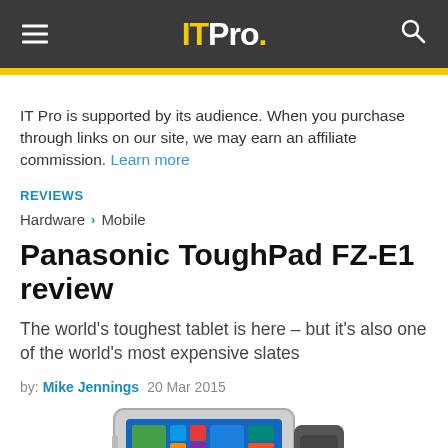IT Pro.
IT Pro is supported by its audience. When you purchase through links on our site, we may earn an affiliate commission. Learn more
REVIEWS
Hardware > Mobile
Panasonic ToughPad FZ-E1 review
The world's toughest tablet is here – but it's also one of the world's most expensive slates
by: Mike Jennings  20 Mar 2015
[Figure (photo): Photo of the Panasonic ToughPad FZ-E1 rugged tablet device showing Windows tiles on its screen]